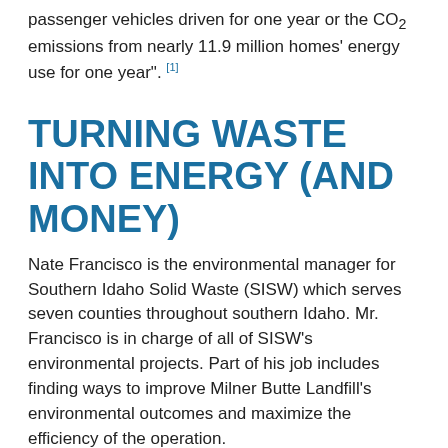passenger vehicles driven for one year or the CO₂ emissions from nearly 11.9 million homes' energy use for one year". [1]
TURNING WASTE INTO ENERGY (AND MONEY)
Nate Francisco is the environmental manager for Southern Idaho Solid Waste (SISW) which serves seven counties throughout southern Idaho. Mr. Francisco is in charge of all of SISW's environmental projects. Part of his job includes finding ways to improve Milner Butte Landfill's environmental outcomes and maximize the efficiency of the operation.